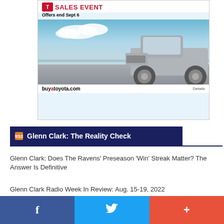[Figure (illustration): Toyota Sales Event advertisement. Shows a silver Toyota truck on a tiled surface with ocean and sky background. Text reads 'SALES EVENT Offers end Sept 6 buyatoyota.com Details']
Glenn Clark: The Reality Check
Glenn Clark: Does The Ravens' Preseason 'Win' Streak Matter? The Answer Is Definitive
Glenn Clark Radio Week In Review: Aug. 15-19, 2022